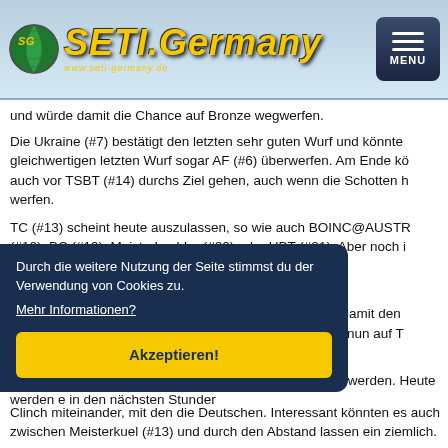SETI.Germany www.seti-germany.de MENU
und würde damit die Chance auf Bronze wegwerfen.
Die Ukraine (#7) bestätigt den letzten sehr guten Wurf und könnte mit einem gleichwertigen letzten Wurf sogar AF (#6) überwerfen. Am Ende kö auch vor TSBT (#14) durchs Ziel gehen, auch wenn die Schotten h werfen.
TC (#13) scheint heute auszulassen, so wie auch BOINC@AUSTR (#18), BC (#19), Meisterkuehler (#20) oder UBT (#21). Aber noch i Ende.
Hindernislauf (Universe@Home)
Nun hat TAAT auch hier die Führung übernommen und damit den genutzt. P3D (#2) kann da bisher nicht folgen und muss nun auf T heute sehr schnell unterwegs sind.
en sehen, was der Bonust ms jetzt bereits alle Reser en werden. Heute werden e in den nächsten Stunder
Clinch miteinander, mit den die Deutschen. Interessant könnten es auch zwischen Meisterkue (#13) und durch den Abstand lassen ein ziemlich.
Durch die weitere Nutzung der Seite stimmst du der Verwendung von Cookies zu. Mehr Informationen? Akzeptieren!